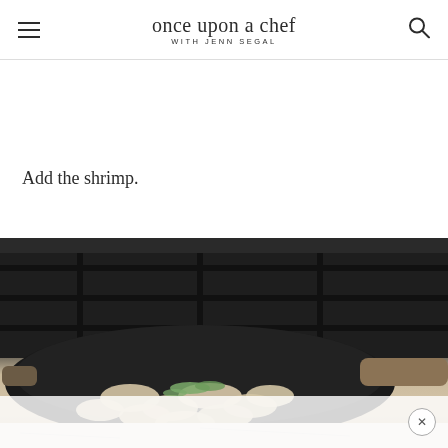once upon a chef WITH JENN SEGAL
Add the shrimp.
[Figure (photo): Raw shrimp being added to a black nonstick pan on a gas stove, with green herbs/scallions visible, a wooden spoon in the pan, on a white marble surface]